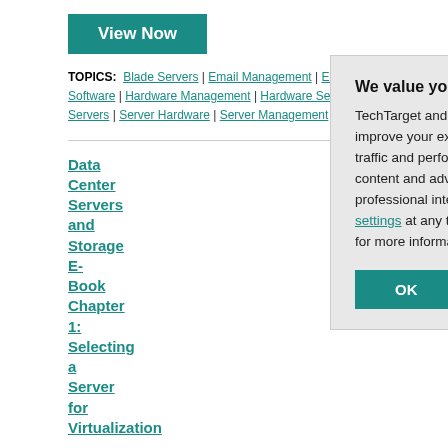View Now
TOPICS: Blade Servers | Email Management | Email Server Software | Hardware Management | Hardware Selection | Rack Servers | Server Hardware | Server Management
Data Center Servers and Storage E-Book Chapter 1: Selecting a Server for Virtualization
sponsored by Dell, N... EBOOK: Selecting a... virtualization adds se... This first chapter ou... on hardware attribu... environment.
Posted: 09 Mar 201...
View Now
TOPICS: Data Center M... | Server Hardware | Serv... Storage Hardware | Stor...
We value your privacy. TechTarget and its partners employ cookies to improve your experience on our site, to analyze traffic and performance, and to serve personalized content and advertising that are relevant to your professional interests. You can manage your settings at any time. Please view our Privacy Policy for more information
OK
Settings